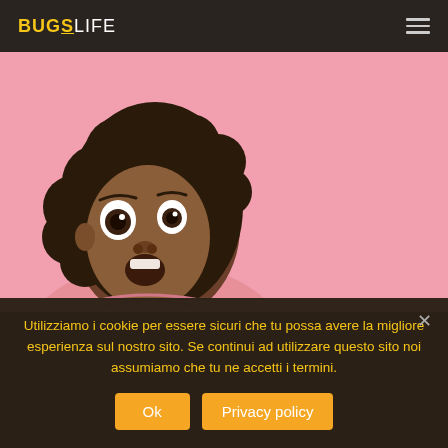BUGS LIFE
[Figure (photo): A surprised young Black woman with curly hair wearing a pink sweater, photographed against a pink background, shown from roughly chest up. Her eyes are wide and mouth is open in surprise.]
Utilizziamo i cookie per essere sicuri che tu possa avere la migliore esperienza sul nostro sito. Se continui ad utilizzare questo sito noi assumiamo che tu ne accetti i termini.
Ok   Privacy policy